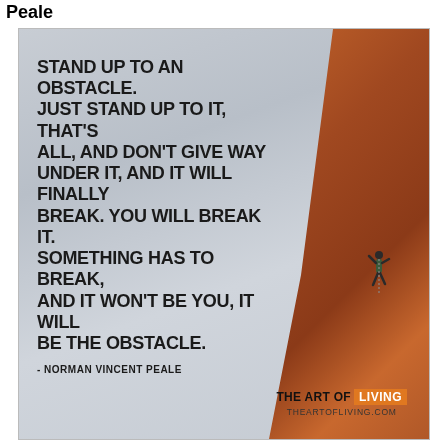Peale
[Figure (illustration): Motivational quote image with a rock climber scaling a red sandstone cliff face against a cloudy sky. Bold quote text reads: STAND UP TO AN OBSTACLE. JUST STAND UP TO IT, THAT'S ALL, AND DON'T GIVE WAY UNDER IT, AND IT WILL FINALLY BREAK. YOU WILL BREAK IT. SOMETHING HAS TO BREAK, AND IT WON'T BE YOU, IT WILL BE THE OBSTACLE. - NORMAN VINCENT PEALE. Branding at bottom: THE ART OF LIVING / THEARTOFLIVING.COM]
STAND UP TO AN OBSTACLE. JUST STAND UP TO IT, THAT'S ALL, AND DON'T GIVE WAY UNDER IT, AND IT WILL FINALLY BREAK. YOU WILL BREAK IT. SOMETHING HAS TO BREAK, AND IT WON'T BE YOU, IT WILL BE THE OBSTACLE.
- NORMAN VINCENT PEALE
THE ART OF LIVING — THEARTOFLIVING.COM